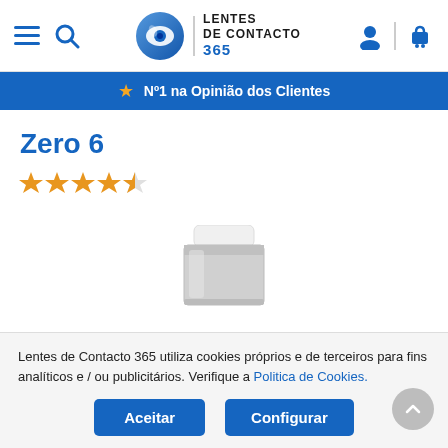[Figure (logo): Lentes de Contacto 365 website header with hamburger menu, search icon, logo with eye graphic, and user/cart icons]
Nº1 na Opinião dos Clientes
Zero 6
[Figure (other): Star rating: 4.5 out of 5 stars in orange]
[Figure (photo): Contact lens product container - white cap on silver/grey cylindrical bottle]
Lentes de Contacto 365 utiliza cookies próprios e de terceiros para fins analíticos e / ou publicitários. Verifique a Politica de Cookies.
Aceitar
Configurar